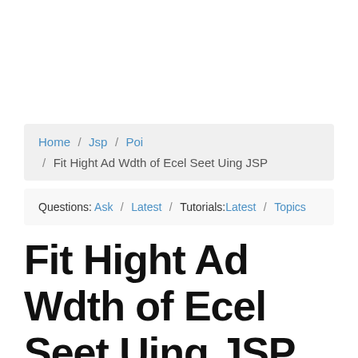Home / Jsp / Poi / Fit Hight Ad Wdth of Ecel Seet Uing JSP
Questions: Ask / Latest / Tutorials:Latest / Topics
Fit Hight Ad Wdth of Ecel Seet Uing JSP
In this program we are going to create a sheet after that set the values into it's cell and set the height and width.